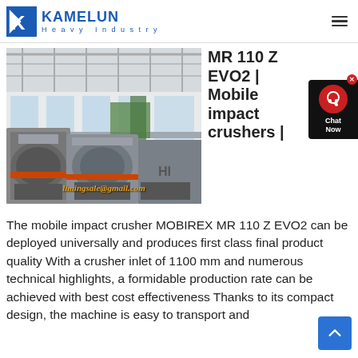KAMELUN Heavy Industry
[Figure (photo): Industrial facility interior showing heavy machinery/crushers with email overlay 'limingsale@gmail.com']
MR 110 Z EVO2 | Mobile impact crushers |
The mobile impact crusher MOBIREX MR 110 Z EVO2 can be deployed universally and produces first class final product quality With a crusher inlet of 1100 mm and numerous technical highlights, a formidable production rate can be achieved with best cost effectiveness Thanks to its compact design, the machine is easy to transport and